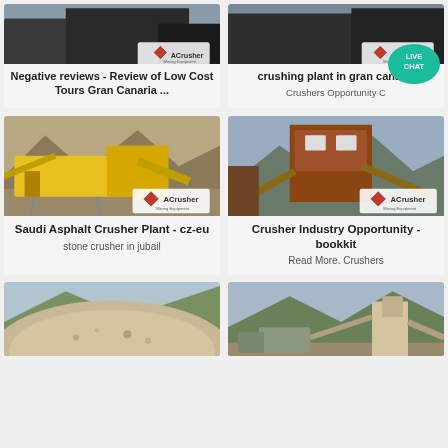[Figure (photo): Mining/crusher equipment photo with ACrusher logo - top left card]
Negative reviews - Review of Low Cost Tours Gran Canaria ...
[Figure (photo): Mining/crusher equipment photo with ACrusher logo - top right card]
crushing plant in gran canaria
Crushers Opportunity C...
[Figure (photo): Yellow mobile crushing plant in desert landscape - ACrusher logo]
Saudi Asphalt Crusher Plant - cz-eu
stone crusher in jubail
[Figure (photo): Industrial crusher tower/structure with mountains - ACrusher logo]
Crusher Industry Opportunity - bookkit
Read More. Crushers
[Figure (photo): Large gravel/stone mound - bottom left partial]
[Figure (photo): Mining crushing plant with mountains - bottom right partial]